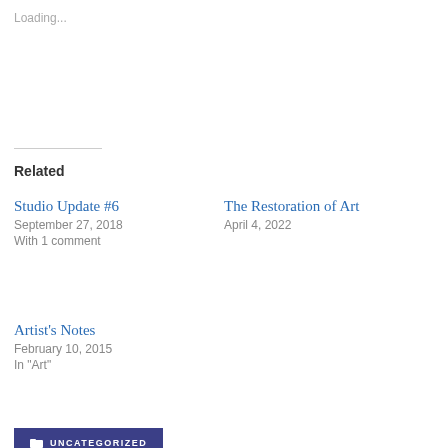Loading...
Related
Studio Update #6
September 27, 2018
With 1 comment
The Restoration of Art
April 4, 2022
Artist's Notes
February 10, 2015
In "Art"
UNCATEGORIZED
[Figure (photo): Circular cropped portrait photo of a man, partially visible at bottom of page]